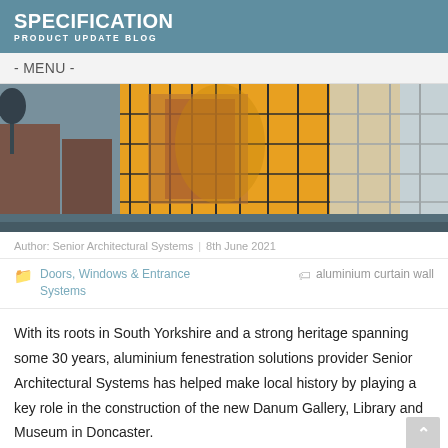SPECIFICATION
PRODUCT UPDATE BLOG
- MENU -
[Figure (photo): Exterior photograph of a modern building with large glass curtain wall facade reflecting a brick heritage building, taken at dusk with warm golden light.]
Author: Senior Architectural Systems | 8th June 2021
Doors, Windows & Entrance Systems
aluminium curtain wall
With its roots in South Yorkshire and a strong heritage spanning some 30 years, aluminium fenestration solutions provider Senior Architectural Systems has helped make local history by playing a key role in the construction of the new Danum Gallery, Library and Museum in Doncaster.